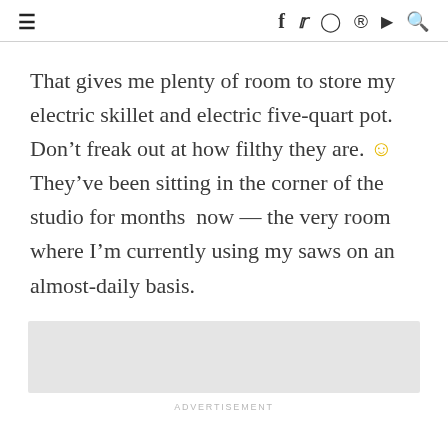≡  f  𝕏  ○  ⊕  ▶  🔍
That gives me plenty of room to store my electric skillet and electric five-quart pot. Don't freak out at how filthy they are. 🙂 They've been sitting in the corner of the studio for months  now — the very room where I'm currently using my saws on an almost-daily basis.
[Figure (other): Gray advertisement placeholder box]
ADVERTISEMENT